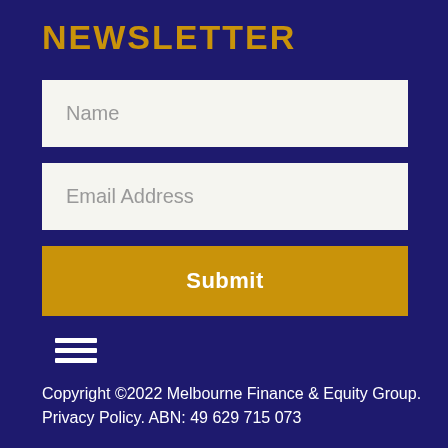NEWSLETTER
Name
Email Address
Submit
[Figure (other): Hamburger menu icon — three horizontal white lines stacked vertically]
Copyright ©2022 Melbourne Finance & Equity Group. Privacy Policy. ABN: 49 629 715 073